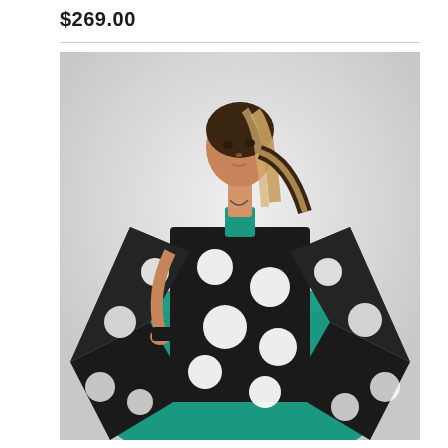$269.00
[Figure (photo): A woman wearing a black and white large polka dot draped poncho/cape top over a teal/green sleeveless dress. She has blonde hair pulled back and poses with one hand on her hip against a light grey background.]